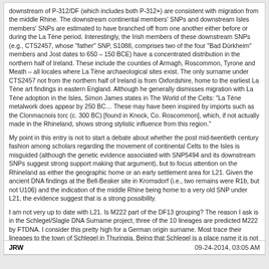downstream of P-312/DF (which includes both P-312+) are consistent with migration from the middle Rhine. The downstream continental members' SNPs and downstream Isles members' SNPs are estimated to have branched off from one another either before or during the La Tène period. Interestingly, the Irish members of these downstream SNPs (e.g., CTS2457, whose "father" SNP, S1088, comprises two of the four "Bad Dürkheim" members and Jost dates to 650 – 150 BCE) have a concentrated distribution in the northern half of Ireland. These include the counties of Armagh, Roscommon, Tyrone and Meath – all locales where La Tène archaeological sites exist. The only surname under CTS2457 not from the northern half of Ireland is from Oxfordshire, home to the earliest La Tène art findings in eastern England. Although he generally dismisses migration with La Tène adoption in the Isles, Simon James states in The World of the Celts: "La Tène metalwork does appear by 250 BC… These may have been inspired by imports such as the Clonmacnois torc (c. 300 BC) [found in Knock, Co. Roscommon], which, if not actually made in the Rhineland, shows strong stylistic influence from this region."
My point in this entry is not to start a debate about whether the post mid-twentieth century fashion among scholars regarding the movement of continental Celts to the Isles is misguided (although the genetic evidence associated with SNP5494 and its downstream SNPs suggest strong support making that argument), but to focus attention on the Rhineland as either the geographic home or an early settlement area for L21. Given the ancient DNA findings at the Bell-Beaker site in Kromsdorf (i.e., two remains were R1b, but not U106) and the indication of the middle Rhine being home to a very old SNP under L21, the evidence suggest that is a strong possibility.
I am not very up to date with L21. Is M222 part of the DF13 grouping? The reason I ask is in the Schlegel/Slagle DNA Surname project, three of the 10 lineages are predicted M222 by FTDNA. I consider this pretty high for a German origin surname. Most trace their lineages to the town of Schlegel in Thuringia. Being that Schlegel is a place name it is not surprising for there to be multiple lineages for this surname. Your thoughts?
JRW    09-24-2014, 03:05 AM